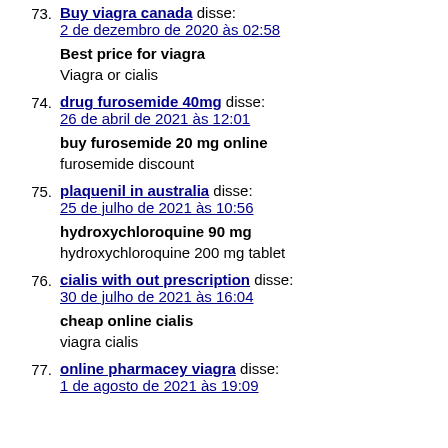73. Buy viagra canada disse: 2 de dezembro de 2020 às 02:58
Best price for viagra
Viagra or cialis
74. drug furosemide 40mg disse: 26 de abril de 2021 às 12:01
buy furosemide 20 mg online
furosemide discount
75. plaquenil in australia disse: 25 de julho de 2021 às 10:56
hydroxychloroquine 90 mg
hydroxychloroquine 200 mg tablet
76. cialis with out prescription disse: 30 de julho de 2021 às 16:04
cheap online cialis
viagra cialis
77. online pharmacey viagra disse: 1 de agosto de 2021 às 19:09